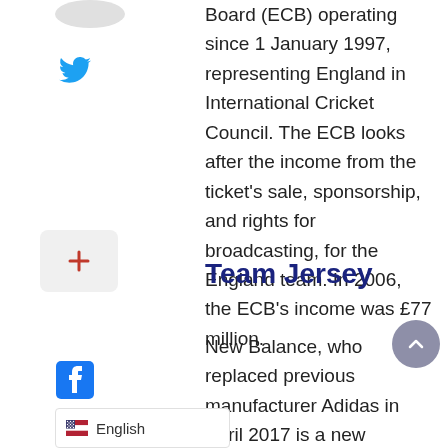Board (ECB) operating since 1 January 1997, representing England in International Cricket Council. The ECB looks after the income from the ticket's sale, sponsorship, and rights for broadcasting, for the England team. In 2006, the ECB's income was £77 million.
Team Jersey
New Balance, who replaced previous manufacturer Adidas in April 2017 is a new manufacturer for England's cricket it. The team jersey matters a lot to